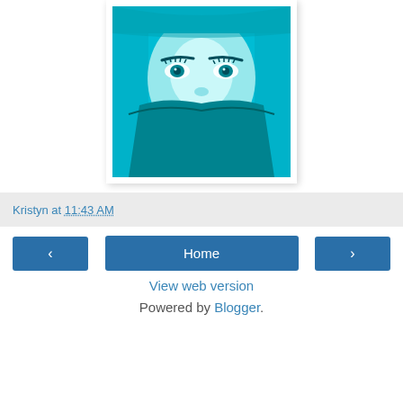[Figure (photo): Teal-tinted photo of a woman's face with her lower face covered by a blanket or fabric, showing mainly her eyes and eyebrows. Heavy cyan/teal color filter applied.]
Kristyn at 11:43 AM
Home
View web version
Powered by Blogger.